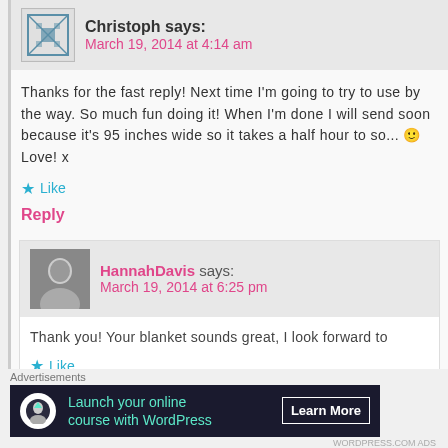Christoph says: March 19, 2014 at 4:14 am
Thanks for the fast reply! Next time I'm going to try to use by the way. So much fun doing it! When I'm done I will send soon because it's 95 inches wide so it takes a half hour to so... 🙂 Love! x
★ Like
Reply
HannahDavis says: March 19, 2014 at 6:25 pm
Thank you! Your blanket sounds great, I look forward to
★ Like
Reply (partial)
Advertisements
[Figure (infographic): Advertisement banner: 'Launch your online course with WordPress' with Learn More button on dark background]